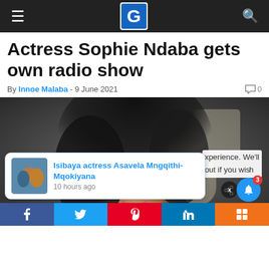G (logo navigation bar)
Actress Sophie Ndaba gets own radio show
By Innoe Malaba - 9 June 2021  💬 0
[Figure (photo): Photo of actress Sophie Ndaba with curly black hair and pink lipstick]
Isibaya actress Asavela Mngqithi-Mqokiyana — 10 hours ago
xperience. We'll out if you wish